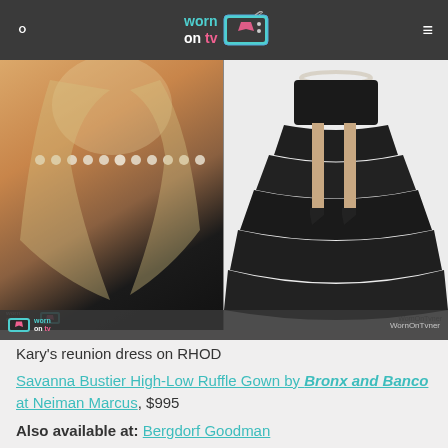worn on tv [logo]
[Figure (photo): Split image: left side shows a blonde woman wearing a black bustier top and pearl choker necklace; right side shows a product photo of a black high-low ruffle gown on a mannequin against a white background. Bottom strip shows worn on tv logo and watermark.]
Kary's reunion dress on RHOD
Savanna Bustier High-Low Ruffle Gown by Bronx and Banco at Neiman Marcus, $995
Also available at: Bergdorf Goodman